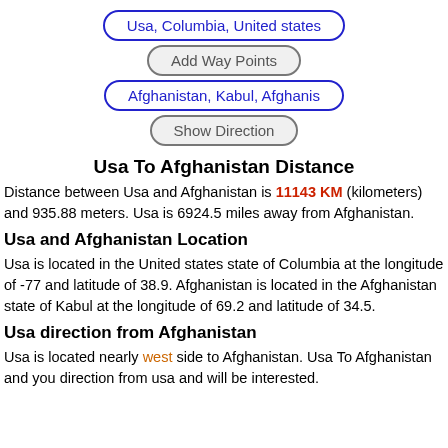[Figure (other): UI input button with blue rounded border, text: Usa, Columbia, United states]
[Figure (other): UI button with gray rounded border, text: Add Way Points]
[Figure (other): UI input button with blue rounded border, text: Afghanistan, Kabul, Afghanis]
[Figure (other): UI button with gray rounded border, text: Show Direction]
Usa To Afghanistan Distance
Distance between Usa and Afghanistan is 11143 KM (kilometers) and 935.88 meters. Usa is 6924.5 miles away from Afghanistan.
Usa and Afghanistan Location
Usa is located in the United states state of Columbia at the longitude of -77 and latitude of 38.9. Afghanistan is located in the Afghanistan state of Kabul at the longitude of 69.2 and latitude of 34.5.
Usa direction from Afghanistan
Usa is located nearly west side to Afghanistan. Usa To Afghanistan and you direction from usa and will be interested.